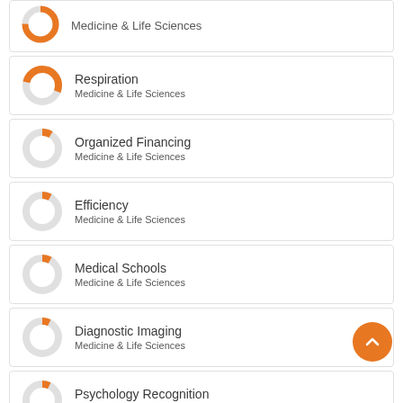[Figure (donut-chart): Partial donut chart - Medicine & Life Sciences, top card cut off]
Medicine & Life Sciences
[Figure (donut-chart): Donut chart for Respiration - small orange segment]
Respiration
Medicine & Life Sciences
[Figure (donut-chart): Donut chart for Organized Financing - very small orange segment]
Organized Financing
Medicine & Life Sciences
[Figure (donut-chart): Donut chart for Efficiency - very small orange segment]
Efficiency
Medicine & Life Sciences
[Figure (donut-chart): Donut chart for Medical Schools - very small orange segment]
Medical Schools
Medicine & Life Sciences
[Figure (donut-chart): Donut chart for Diagnostic Imaging - very small orange segment]
Diagnostic Imaging
Medicine & Life Sciences
[Figure (donut-chart): Donut chart for Psychology Recognition - very small orange segment]
Psychology Recognition
Medicine & Life Sciences